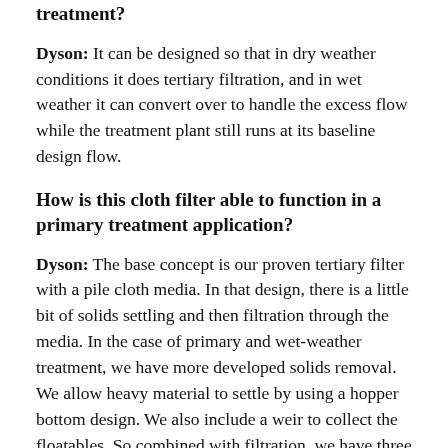treatment?
Dyson: It can be designed so that in dry weather conditions it does tertiary filtration, and in wet weather it can convert over to handle the excess flow while the treatment plant still runs at its baseline design flow.
How is this cloth filter able to function in a primary treatment application?
Dyson: The base concept is our proven tertiary filter with a pile cloth media. In that design, there is a little bit of solids settling and then filtration through the media. In the case of primary and wet-weather treatment, we have more developed solids removal. We allow heavy material to settle by using a hopper bottom design. We also include a weir to collect the floatables. So combined with filtration, we have three modes of removing solids to provide a total solution.